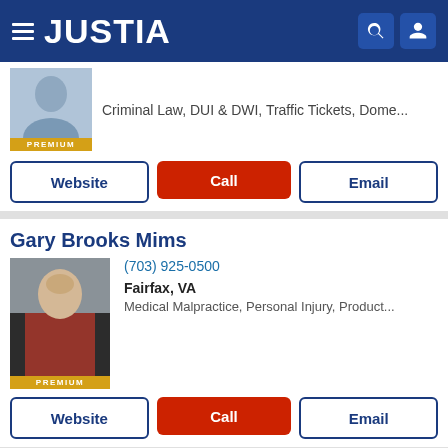JUSTIA
Criminal Law, DUI & DWI, Traffic Tickets, Dome...
Website | Call | Email
Gary Brooks Mims
(703) 925-0500
Fairfax, VA
Medical Malpractice, Personal Injury, Product...
Website | Call | Email
Merritt James Green
McLean, VA